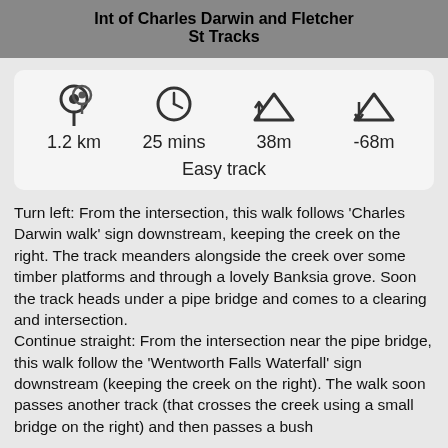Int of Charles Darwin and Fletcher St Tracks
[Figure (infographic): Info card showing track stats: location pin icon, clock icon, elevation gain icon, elevation loss icon with values 1.2 km, 25 mins, 38m, -68m and Easy track label]
Turn left: From the intersection, this walk follows ‘Charles Darwin walk’ sign downstream, keeping the creek on the right. The track meanders alongside the creek over some timber platforms and through a lovely Banksia grove. Soon the track heads under a pipe bridge and comes to a clearing and intersection.
Continue straight: From the intersection near the pipe bridge, this walk follow the ‘Wentworth Falls Waterfall’ sign downstream (keeping the creek on the right). The walk soon passes another track (that crosses the creek using a small bridge on the right) and then passes a bush